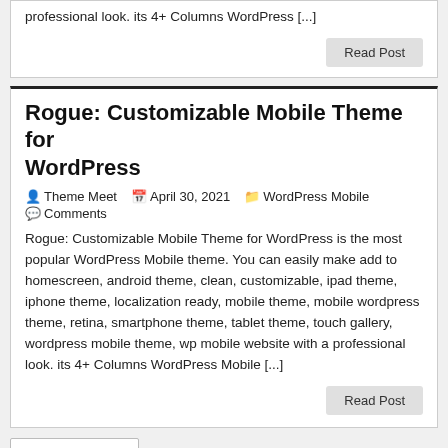professional look. its 4+ Columns WordPress [...]
Read Post
Rogue: Customizable Mobile Theme for WordPress
Theme Meet   April 30, 2021   WordPress Mobile   Comments
Rogue: Customizable Mobile Theme for WordPress is the most popular WordPress Mobile theme. You can easily make add to homescreen, android theme, clean, customizable, ipad theme, iphone theme, localization ready, mobile theme, mobile wordpress theme, retina, smartphone theme, tablet theme, touch gallery, wordpress mobile theme, wp mobile website with a professional look. its 4+ Columns WordPress Mobile [...]
Read Post
← Older Posts